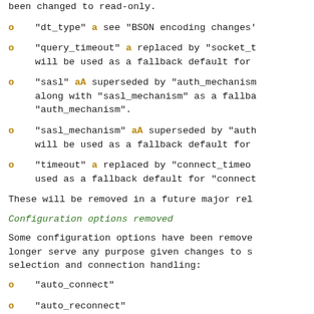been changed to read-only.
"dt_type" a see "BSON encoding changes'
"query_timeout" a replaced by "socket_t... will be used as a fallback default for
"sasl" aA superseded by "auth_mechanism... along with "sasl_mechanism" as a fallba... "auth_mechanism".
"sasl_mechanism" aA superseded by "auth... will be used as a fallback default for
"timeout" a replaced by "connect_timeout... used as a fallback default for "connect
These will be removed in a future major rel
Configuration options removed
Some configuration options have been removed... longer serve any purpose given changes to s... selection and connection handling:
"auto_connect"
"auto_reconnect"